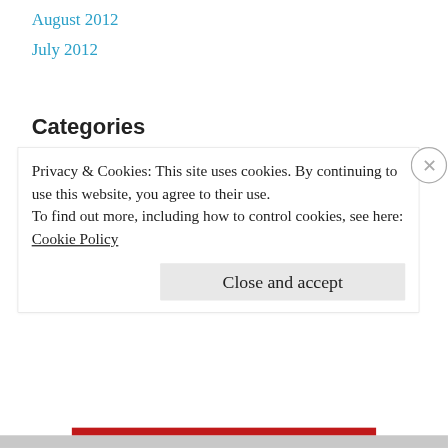August 2012
July 2012
Categories
Uncategorized
Meta
Register
Log in
Privacy & Cookies: This site uses cookies. By continuing to use this website, you agree to their use.
To find out more, including how to control cookies, see here: Cookie Policy
Close and accept